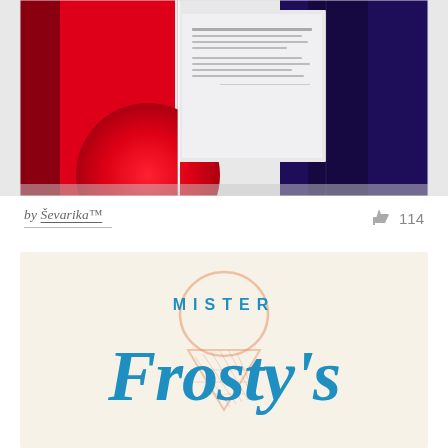[Figure (illustration): Top graphic: abstract geometric composition with red panels on the left, deep navy/purple on the right, and a white/light grey rectangular document in the center containing small unreadable text. Red circular shape visible in lower portion of the composition.]
by Ševarika™
114
[Figure (logo): Mister Frosty's ice cream brand logo on a cream/off-white background. 'MISTER' in bold blue uppercase spaced letters at top, 'Frosty's' in large blue hand-lettered italic script below, with a faint orange/peach outline illustration of an ice cream cone in the background.]